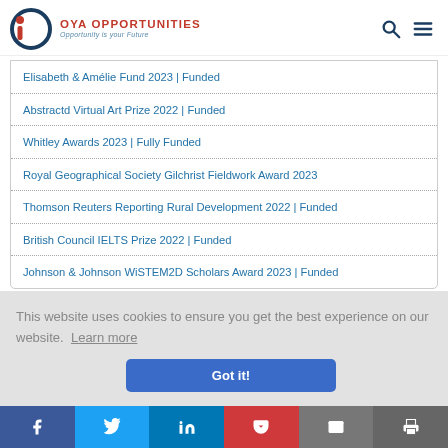OYA OPPORTUNITIES — Opportunity is your Future
Elisabeth & Amélie Fund 2023 | Funded
Abstractd Virtual Art Prize 2022 | Funded
Whitley Awards 2023 | Fully Funded
Royal Geographical Society Gilchrist Fieldwork Award 2023
Thomson Reuters Reporting Rural Development 2022 | Funded
British Council IELTS Prize 2022 | Funded
Johnson & Johnson WiSTEM2D Scholars Award 2023 | Funded
This website uses cookies to ensure you get the best experience on our website.  Learn more
Got it!